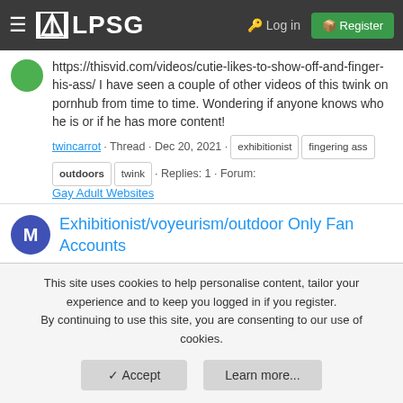LPSG — Log in | Register
https://thisvid.com/videos/cutie-likes-to-show-off-and-finger-his-ass/ I have seen a couple of other videos of this twink on pornhub from time to time. Wondering if anyone knows who he is or if he has more content!
twincarrot · Thread · Dec 20, 2021 · exhibitionist fingering ass outdoors twink · Replies: 1 · Forum: Gay Adult Websites
Exhibitionist/voyeurism/outdoor Only Fan Accounts
Hi, Is there only fans account of hot guys who feature lots of daring outdoor or voyeurism activities? Like
This site uses cookies to help personalise content, tailor your experience and to keep you logged in if you register. By continuing to use this site, you are consenting to our use of cookies.